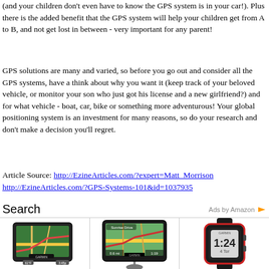(and your children don't even have to know the GPS system is in your car!). Plus there is the added benefit that the GPS system will help your children get from A to B, and not get lost in between - very important for any parent!
GPS solutions are many and varied, so before you go out and consider all the GPS systems, have a think about why you want it (keep track of your beloved vehicle, or monitor your son who just got his license and a new girlfriend?) and for what vehicle - boat, car, bike or something more adventurous! Your global positioning system is an investment for many reasons, so do your research and don't make a decision you'll regret.
Article Source: http://EzineArticles.com/?expert=Matt_Morrison http://EzineArticles.com/?GPS-Systems-101&id=1037935
Search
[Figure (photo): Three GPS product images: a Garmin car GPS navigator with map display, a larger Garmin car GPS on a mount with map display, and a Garmin GPS running watch showing 1:24 time.]